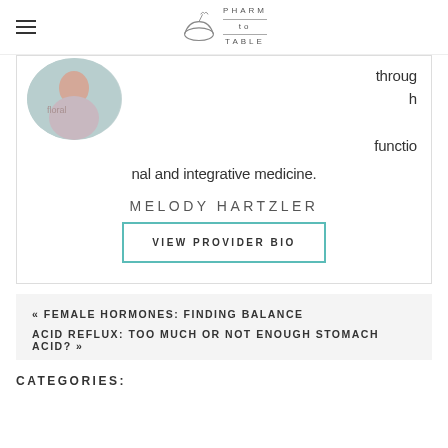PHARM TO TABLE
[Figure (photo): Circular cropped profile photo of a person, partially visible at top of card]
through functional and integrative medicine.
MELODY HARTZLER
VIEW PROVIDER BIO
« FEMALE HORMONES: FINDING BALANCE
ACID REFLUX: TOO MUCH OR NOT ENOUGH STOMACH ACID? »
CATEGORIES: